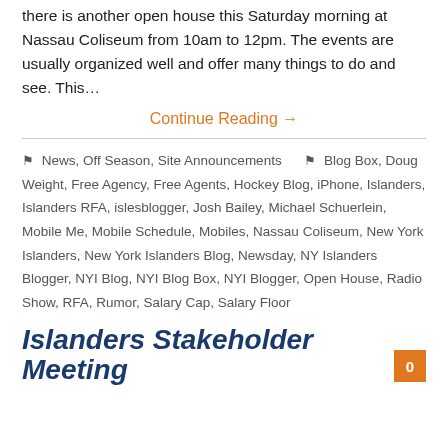there is another open house this Saturday morning at Nassau Coliseum from 10am to 12pm. The events are usually organized well and offer many things to do and see. This…
Continue Reading →
🏷 News, Off Season, Site Announcements   🏷 Blog Box, Doug Weight, Free Agency, Free Agents, Hockey Blog, iPhone, Islanders, Islanders RFA, islesblogger, Josh Bailey, Michael Schuerlein, Mobile Me, Mobile Schedule, Mobiles, Nassau Coliseum, New York Islanders, New York Islanders Blog, Newsday, NY Islanders Blogger, NYI Blog, NYI Blog Box, NYI Blogger, Open House, Radio Show, RFA, Rumor, Salary Cap, Salary Floor
Islanders Stakeholder Meeting